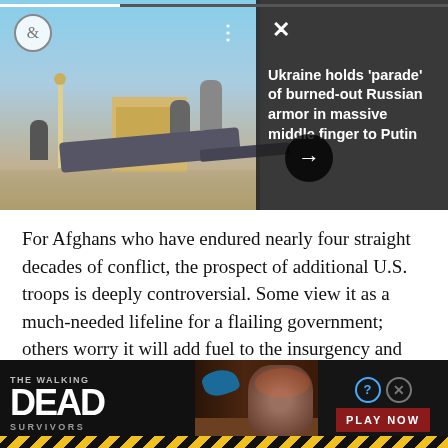[Figure (photo): News article slideshow image showing people climbing on military hardware in a Ukrainian city square with a monument and buildings in the background. An overlay notification reads 'Ukraine holds parade of burned-out Russian armor in massive middle finger to Putin' with a dark semi-transparent background and navigation arrow.]
For Afghans who have endured nearly four straight decades of conflict, the prospect of additional U.S. troops is deeply controversial. Some view it as a much-needed lifeline for a flailing government; others worry it will add fuel to the insurgency and extend a war that has already killed more than 30,000 civilians.
Here is a sampling of their views:
[Figure (screenshot): Advertisement banner for 'The Walking Dead: Survivors' mobile game featuring zombie imagery and a 'PLAY NOW' button with a caution stripe at the bottom.]